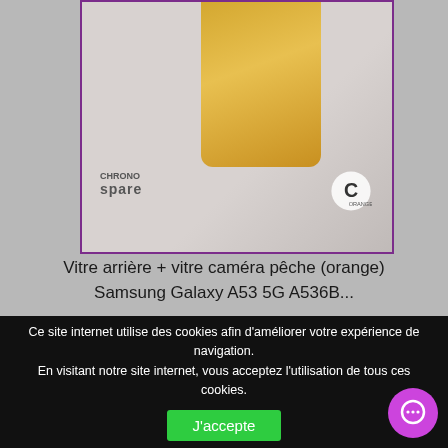[Figure (photo): Product photo showing back glass cover in orange/gold color for Samsung Galaxy A53 5G A536B, with Chrono Spare and Orange logos, inside a purple-bordered card on grey background]
Vitre arrière + vitre caméra pêche (orange) Samsung Galaxy A53 5G A536B...
Détails
♡ Ajouter à ma liste d'envies
+ Ajouter au comparateur
Ce site internet utilise des cookies afin d'améliorer votre expérience de navigation.
En visitant notre site internet, vous acceptez l'utilisation de tous ces cookies.
J'accepte